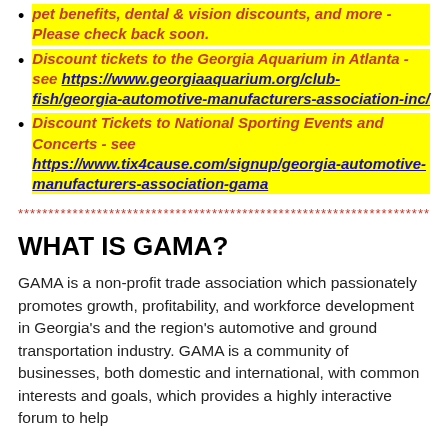pet benefits, dental & vision discounts, and more - Please check back soon.
Discount tickets to the Georgia Aquarium in Atlanta - see https://www.georgiaaquarium.org/club-fish/georgia-automotive-manufacturers-association-inc/
Discount Tickets to National Sporting Events and Concerts - see https://www.tix4cause.com/signup/georgia-automotive-manufacturers-association-gama
***********************************************************************
WHAT IS GAMA?
GAMA is a non-profit trade association which passionately promotes growth, profitability, and workforce development in Georgia's and the region's automotive and ground transportation industry. GAMA is a community of businesses, both domestic and international, with common interests and goals, which provides a highly interactive forum to help